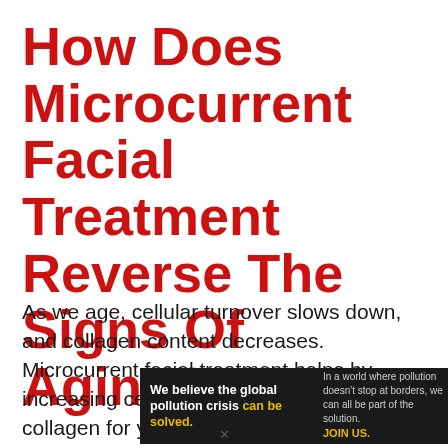How Does Microcurrent Facial Treatment Reverse The Signs Of Aging?
As we age, cellular turnover slows down, and collagen content decreases. Microcurrent facial treatment helps by increasing cellular turnover and producing collagen for youthful skin
[Figure (other): Pure Earth advertisement banner: black background with text 'We believe the global pollution crisis can be solved.' in white and yellow, followed by 'In a world where pollution doesn't stop at borders, we can all be part of the solution. JOIN US.' and Pure Earth logo with diamond icon and stacked chevrons.]